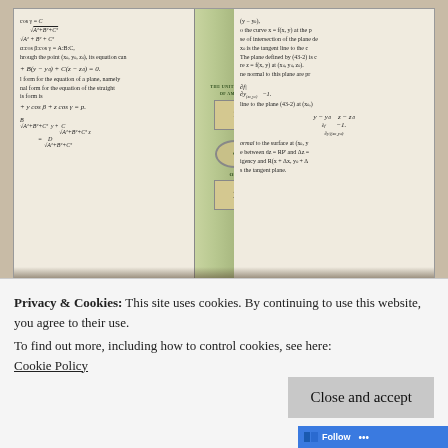[Figure (photo): Open mathematics textbook showing pages with equations and formulas about planes and surfaces, with a US one dollar bill used as a bookmark inserted between the pages.]
I went through more of the book and found
Privacy & Cookies: This site uses cookies. By continuing to use this website, you agree to their use.
To find out more, including how to control cookies, see here:
Cookie Policy
Close and accept